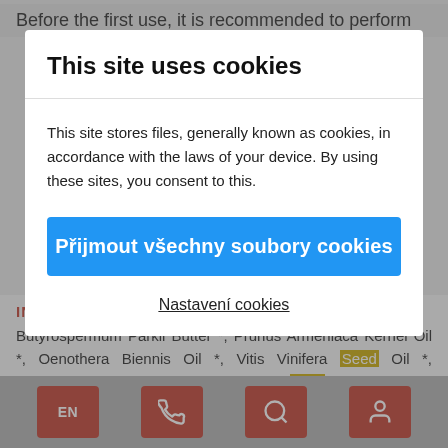Before the first use, it is recommended to perform
This site uses cookies
This site stores files, generally known as cookies, in accordance with the laws of your device. By using these sites, you consent to this.
Přijmout všechny soubory cookies
Nastavení cookies
INGREDIENTS
Butyrospermum Parkii Butter *, Prunus Armeniaca Kernel Oil *, Oenothera Biennis Oil *, Vitis Vinifera Seed Oil *, Theobroma Cacao Seed Butter *, Chamo...